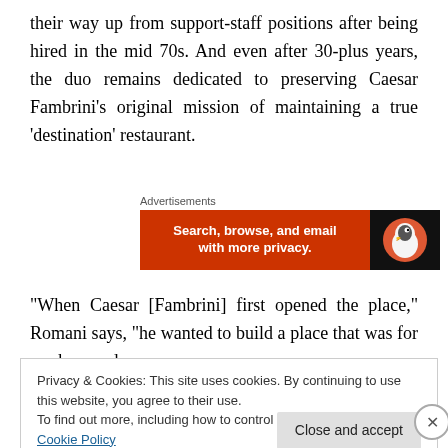their way up from support-staff positions after being hired in the mid 70s. And even after 30-plus years, the duo remains dedicated to preserving Caesar Fambrini's original mission of maintaining a true 'destination' restaurant.
[Figure (other): DuckDuckGo advertisement banner: orange left side with text 'Search, browse, and email with more privacy.' and black right side with DuckDuckGo duck logo]
“When Caesar [Fambrini] first opened the place,” Romani says, “he wanted to build a place that was for workers and
Privacy & Cookies: This site uses cookies. By continuing to use this website, you agree to their use.
To find out more, including how to control cookies, see here: Cookie Policy
Advertisements